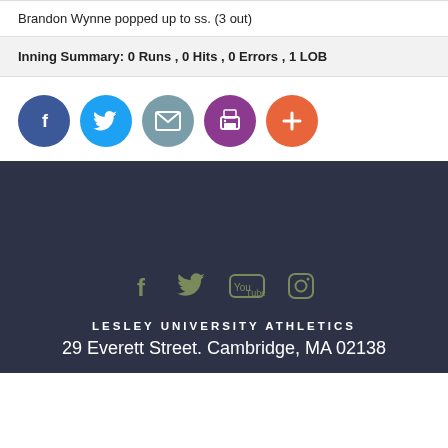Brandon Wynne popped up to ss. (3 out)
Inning Summary: 0 Runs , 0 Hits , 0 Errors , 1 LOB
[Figure (other): Social share buttons: Facebook (blue), Twitter (light blue), Email (teal/grey), Print (purple), Add/Plus (orange-red)]
[Figure (other): Footer social icons on dark background: Facebook, Twitter, YouTube, Instagram]
LESLEY UNIVERSITY ATHLETICS
29 Everett Street. Cambridge, MA 02138